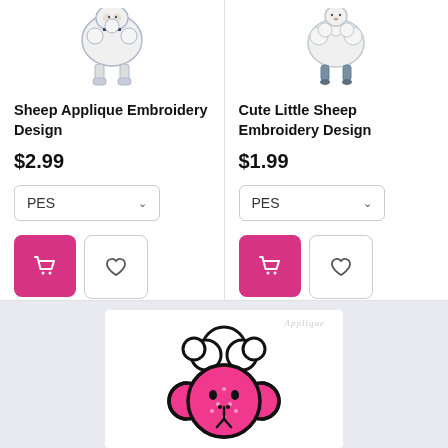[Figure (photo): Embroidered sheep applique design product image, white sheep with bow tie on feet]
Sheep Applique Embroidery Design
$2.99
[Figure (photo): Cute little sheep embroidery design product image, white fluffy sheep with grey legs]
Cute Little Sheep Embroidery Design
$1.99
[Figure (illustration): Pink cartoon sheep face applique embroidery design with white fluffy top, black outline, dotted pink fabric texture, small black eyes and nose]